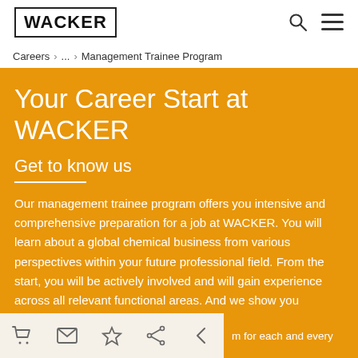WACKER
Careers › ... › Management Trainee Program
Your Career Start at WACKER
Get to know us
Our management trainee program offers you intensive and comprehensive preparation for a job at WACKER. You will learn about a global chemical business from various perspectives within your future professional field. From the start, you will be actively involved and will gain experience across all relevant functional areas. And we show you development prospects that await you in the future.
m for each and every